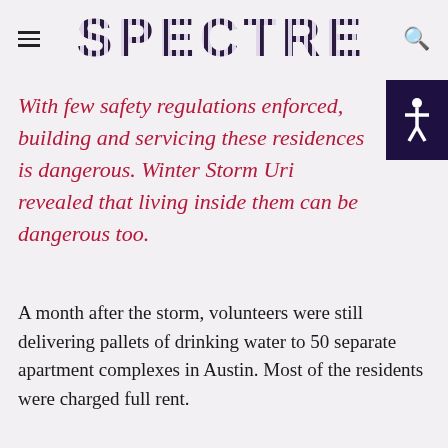SPECTRE
With few safety regulations enforced, building and servicing these residences is dangerous. Winter Storm Uri revealed that living inside them can be dangerous too.
A month after the storm, volunteers were still delivering pallets of drinking water to 50 separate apartment complexes in Austin. Most of the residents were charged full rent.